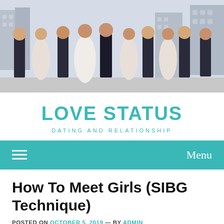[Figure (photo): Wedding party photo: bride and groom with bridesmaids and groomsmen standing outdoors on a rooftop with city buildings in the background. Women in light pink/white gowns, men in dark suits.]
LOVE STATUS
DATING AND RELATIONSHIP
Menu
How To Meet Girls (SIBG Technique)
POSTED ON OCTOBER 5, 2019 — BY ADMIN